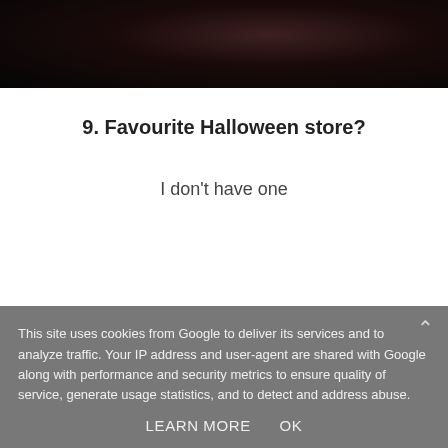[Figure (photo): Dark photograph, mostly black/dark tones, partial view of a face or figure in shadow]
9. Favourite Halloween store?
I don't have one
10. Jack-o-lanterns, yes or no?
This site uses cookies from Google to deliver its services and to analyze traffic. Your IP address and user-agent are shared with Google along with performance and security metrics to ensure quality of service, generate usage statistics, and to detect and address abuse.
LEARN MORE    OK